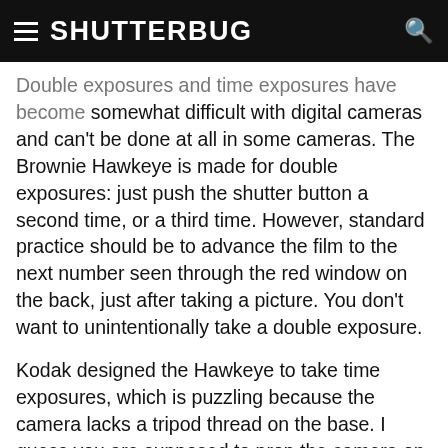SHUTTERBUG
Double exposures and time exposures have become somewhat difficult with digital cameras and can't be done at all in some cameras. The Brownie Hawkeye is made for double exposures: just push the shutter button a second time, or a third time. However, standard practice should be to advance the film to the next number seen through the red window on the back, just after taking a picture. You don't want to unintentionally take a double exposure.
Kodak designed the Hawkeye to take time exposures, which is puzzling because the camera lacks a tripod thread on the base. I guess you are supposed to prop the camera on a flat surface and hope for the best. The light gray plastic molding on